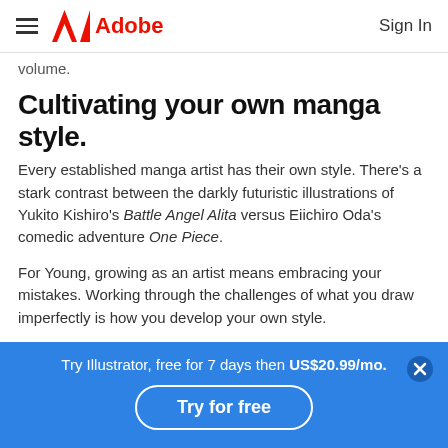Adobe — Sign In
volume.
Cultivating your own manga style.
Every established manga artist has their own style. There's a stark contrast between the darkly futuristic illustrations of Yukito Kishiro's Battle Angel Alita versus Eiichiro Oda's comedic adventure One Piece.
For Young, growing as an artist means embracing your mistakes. Working through the challenges of what you draw imperfectly is how you develop your own style.
Try Illustrator, free for 7 days then US$20.99/mo. Try for free